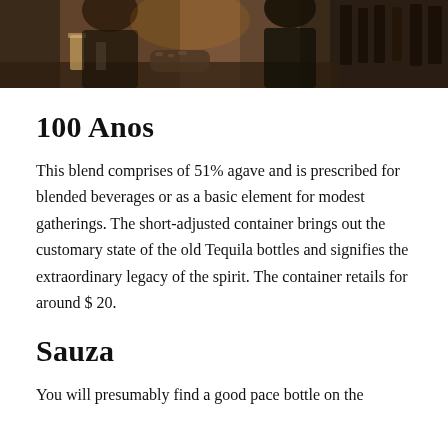[Figure (photo): Cropped photo of bartenders or people in a bar setting, showing drinks and a person with tattoos visible.]
100 Anos
This blend comprises of 51% agave and is prescribed for blended beverages or as a basic element for modest gatherings. The short-adjusted container brings out the customary state of the old Tequila bottles and signifies the extraordinary legacy of the spirit. The container retails for around $ 20.
Sauza
You will presumably find a good pace bottle on the